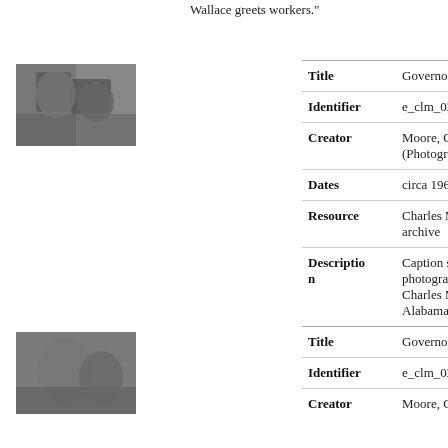Wallace greets workers."
[Figure (photo): Black and white photo of Governor George Wallace, e_clm_0237]
| Field | Value |
| --- | --- |
| Title | Governor George Wallace |
| Identifier | e_clm_0237 |
| Creator | Moore, Charles, 1931-2010 (Photographer) |
| Dates | circa 1963-1964 |
| Resource | Charles Moore photographic archive |
| Description | Caption supplied by photographer's estate: "Photo by Charles Moore. Governor of Alabama, George C. Wallace." |
[Figure (photo): Black and white photo of Governor George Wallace, e_clm_0238]
| Field | Value |
| --- | --- |
| Title | Governor George Wallace |
| Identifier | e_clm_0238 |
| Creator | Moore, Charles, 1931-2010 |